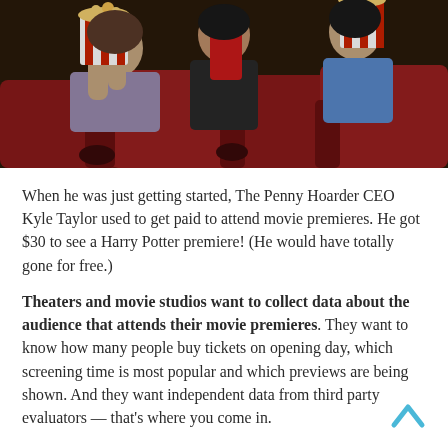[Figure (photo): People sitting in red cinema seats holding popcorn and drinks, watching a movie]
When he was just getting started, The Penny Hoarder CEO Kyle Taylor used to get paid to attend movie premieres. He got $30 to see a Harry Potter premiere! (He would have totally gone for free.)
Theaters and movie studios want to collect data about the audience that attends their movie premieres. They want to know how many people buy tickets on opening day, which screening time is most popular and which previews are being shown. And they want independent data from third party evaluators — that's where you come in.